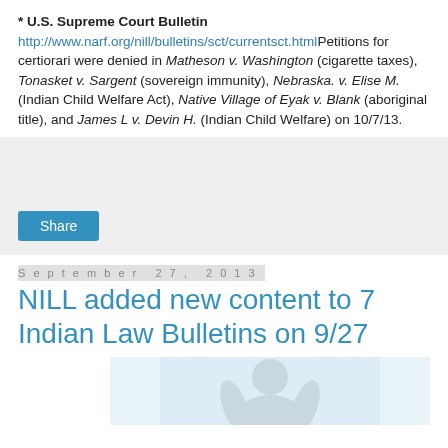* U.S. Supreme Court Bulletin http://www.narf.org/nill/bulletins/sct/currentsct.htmlPetitions for certiorari were denied in Matheson v. Washington (cigarette taxes), Tonasket v. Sargent (sovereign immunity), Nebraska. v. Elise M. (Indian Child Welfare Act), Native Village of Eyak v. Blank (aboriginal title), and James L v. Devin H. (Indian Child Welfare) on 10/7/13.
[Figure (other): Share button within a grey box]
September 27, 2013
NILL added new content to 7 Indian Law Bulletins on 9/27
[Figure (photo): Partial image of a figure/illustration at bottom of page]